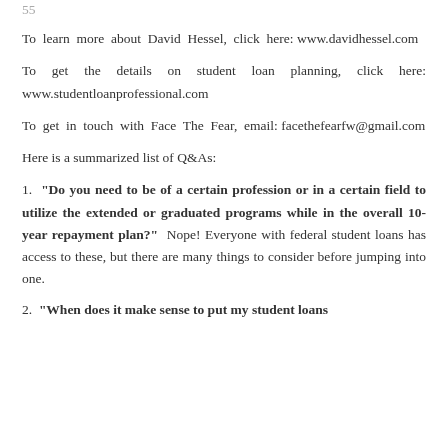55
To learn more about David Hessel, click here: www.davidhessel.com
To get the details on student loan planning, click here: www.studentloanprofessional.com
To get in touch with Face The Fear, email: facethefearfw@gmail.com
Here is a summarized list of Q&As:
1. "Do you need to be of a certain profession or in a certain field to utilize the extended or graduated programs while in the overall 10-year repayment plan?" Nope! Everyone with federal student loans has access to these, but there are many things to consider before jumping into one.
2. "When does it make sense to put my student loans